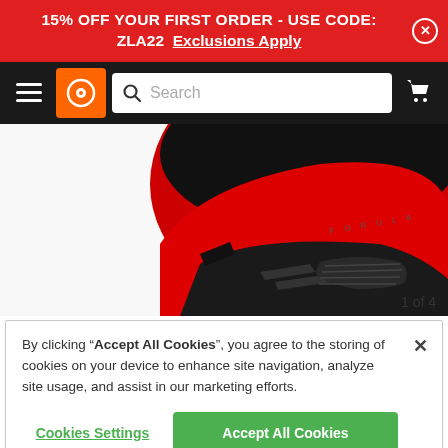15% OFF YOUR FIRST ORDER - USE CODE: ZLA22  Exclusions Apply
[Figure (screenshot): Navigation bar with hamburger menu, orange logo icon, search bar, and cart icon on dark background]
[Figure (photo): Close-up of a red and black motorcycle/racing helmet, front-bottom portion showing ventilation details and logo text]
1 of 4
By clicking “Accept All Cookies”, you agree to the storing of cookies on your device to enhance site navigation, analyze site usage, and assist in our marketing efforts.
Cookies Settings
Accept All Cookies